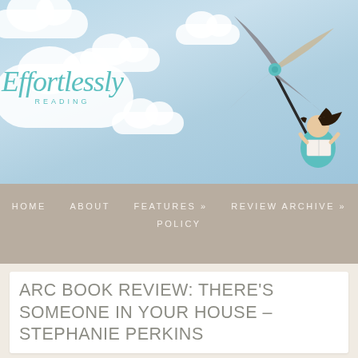[Figure (illustration): Blog header banner with light blue watercolor sky background, white clouds, a pinwheel held by a girl reading a book, and the 'Effortlessly Reading' logo in teal script on a white cloud bubble]
HOME   ABOUT   FEATURES »   REVIEW ARCHIVE »   POLICY
ARC BOOK REVIEW: THERE'S SOMEONE IN YOUR HOUSE – STEPHANIE PERKINS